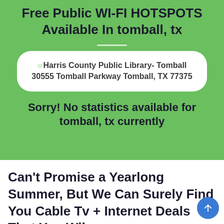Free Public WI-FI HOTSPOTS Available In tomball, tx
Harris County Public Library- Tomball 30555 Tomball Parkway Tomball, TX 77375
Sorry! No statistics available for tomball, tx currently
Can't Promise a Yearlong Summer, But We Can Surely Find You Cable Tv + Internet Deals That You Wil